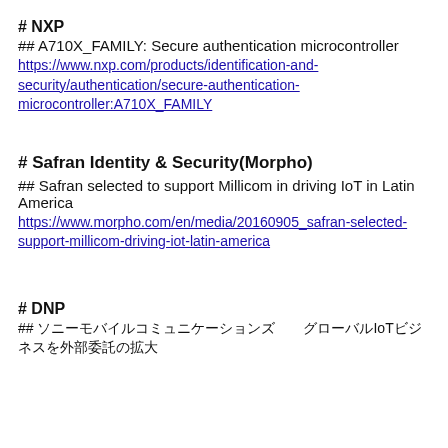# NXP
## A710X_FAMILY: Secure authentication microcontroller
https://www.nxp.com/products/identification-and-security/authentication/secure-authentication-microcontroller:A710X_FAMILY
# Safran Identity & Security(Morpho)
## Safran selected to support Millicom in driving IoT in Latin America
https://www.morpho.com/en/media/20160905_safran-selected-support-millicom-driving-iot-latin-america
# DNP
## [Japanese characters] IoT[Japanese characters]